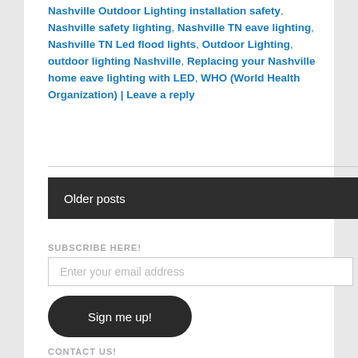Nashville Outdoor Lighting installation safety, Nashville safety lighting, Nashville TN eave lighting, Nashville TN Led flood lights, Outdoor Lighting, outdoor lighting Nashville, Replacing your Nashville home eave lighting with LED, WHO (World Health Organization) | Leave a reply
Older posts
SUBSCRIBE HERE!
Enter your email address
Sign me up!
CONTACT US!